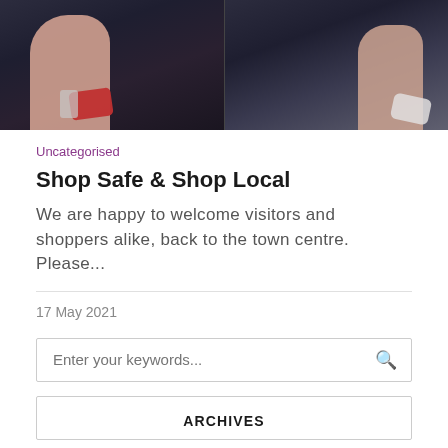[Figure (photo): Two-panel photo strip showing a person in a black outfit holding items, dark background]
Uncategorised
Shop Safe & Shop Local
We are happy to welcome visitors and shoppers alike, back to the town centre. Please...
17 May 2021
Enter your keywords...
ARCHIVES